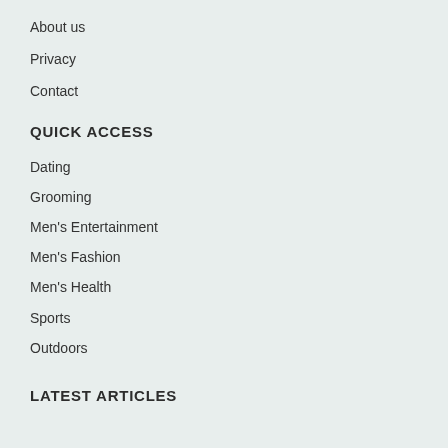About us
Privacy
Contact
QUICK ACCESS
Dating
Grooming
Men's Entertainment
Men's Fashion
Men's Health
Sports
Outdoors
LATEST ARTICLES